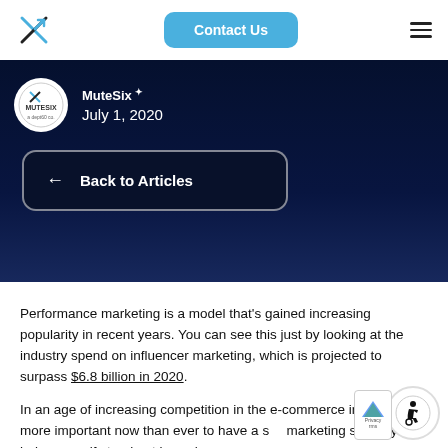MuteSix | Contact Us navigation bar
[Figure (logo): MuteSix logo - X with arrow, blue color]
Contact Us
MuteSix ✦
July 1, 2020
← Back to Articles
Performance marketing is a model that's gained increasing popularity in recent years. You can see this just by looking at the industry spend on influencer marketing, which is projected to surpass $6.8 billion in 2020.
In an age of increasing competition in the e-commerce industry, it's more important now than ever to have a smart marketing strategy to help yourself stand out in such a crowded landscape. Statistically speaking, that means there are 23